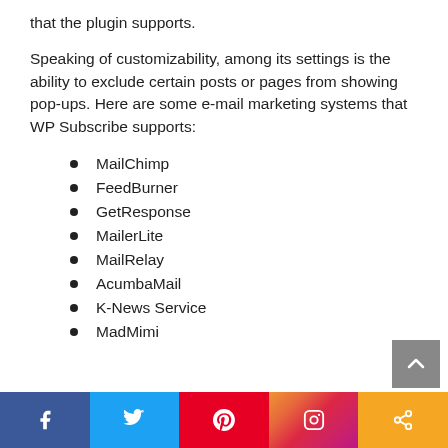that the plugin supports.
Speaking of customizability, among its settings is the ability to exclude certain posts or pages from showing pop-ups. Here are some e-mail marketing systems that WP Subscribe supports:
MailChimp
FeedBurner
GetResponse
MailerLite
MailRelay
AcumbaMail
K-News Service
MadMimi
Social share bar: Facebook, Twitter, Pinterest, Instagram, Share